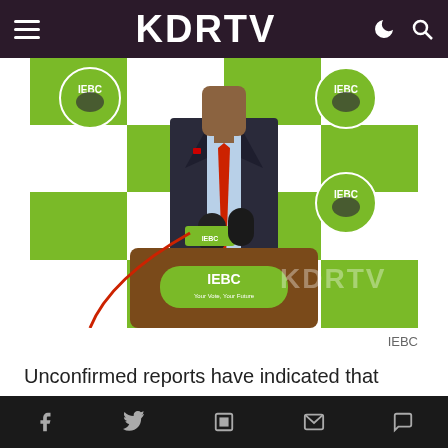KDRTV
[Figure (photo): A man in a dark suit with a red tie standing at a podium with IEBC branding in front of a green and white checkered backdrop with IEBC logos]
IEBC
Unconfirmed reports have indicated that there is a plan to oust the Independent Electoral and Boundaries Commission (IEBC) chairman Wafula Chebukati and two
f  Twitter  Flipboard  Mail  Comment